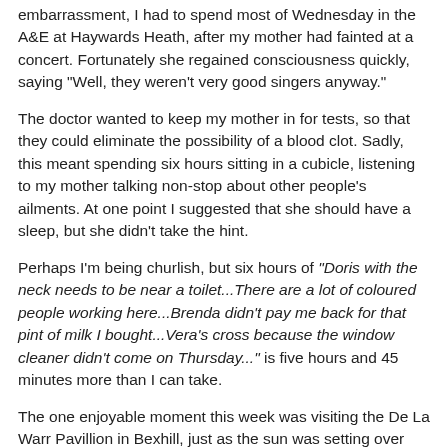embarrassment, I had to spend most of Wednesday in the A&E at Haywards Heath, after my mother had fainted at a concert. Fortunately she regained consciousness quickly, saying "Well, they weren't very good singers anyway."
The doctor wanted to keep my mother in for tests, so that they could eliminate the possibility of a blood clot. Sadly, this meant spending six hours sitting in a cubicle, listening to my mother talking non-stop about other people's ailments. At one point I suggested that she should have a sleep, but she didn't take the hint.
Perhaps I'm being churlish, but six hours of "Doris with the neck needs to be near a toilet...There are a lot of coloured people working here...Brenda didn't pay me back for that pint of milk I bought...Vera's cross because the window cleaner didn't come on Thursday..." is five hours and 45 minutes more than I can take.
The one enjoyable moment this week was visiting the De La Warr Pavillion in Bexhill, just as the sun was setting over the sea.